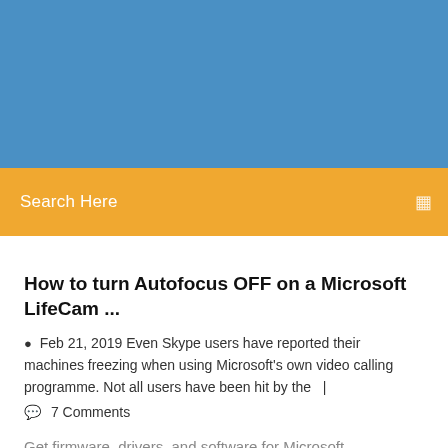[Figure (illustration): Blue banner/header area at the top of a webpage screenshot]
Search Here
How to turn Autofocus OFF on a Microsoft LifeCam ...
Feb 21, 2019 Even Skype users have reported their machines freezing when using Microsoft's own video calling programme. Not all users have been hit by the   |
7 Comments
Get firmware, drivers, and software for Microsoft ...